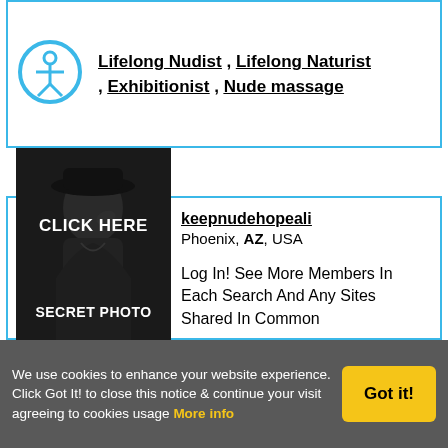Lifelong Nudist , Lifelong Naturist , Exhibitionist , Nude massage
keepnudehopeali
Phoenix, AZ, USA
[Figure (photo): Black and white photo of a person in a hat and coat, face obscured, with text overlays CLICK HERE and SECRET PHOTO]
Log In! See More Members In Each Search And Any Sites Shared In Common
Description:
I want to share experiences and explore and meet like
We use cookies to enhance your website experience. Click Got It! to close this notice & continue your visit agreeing to cookies usage  More info